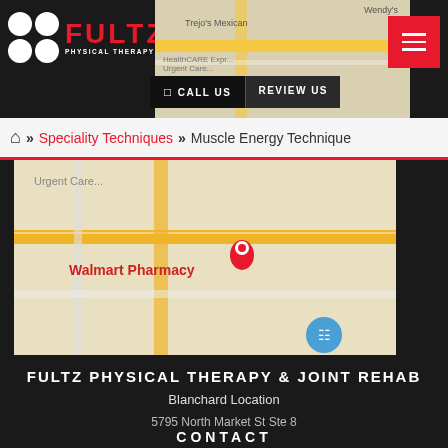FULTZ PHYSICAL THERAPY & JOINT REHAB
[Figure (map): Google Maps screenshot showing area with Walmart Pharmacy, HealthCARE Express Urgent Care, Trejo's Mexican, Wendy's]
CALL US | REVIEW US
» Speciality Techniques » Muscle Energy Technique
FULTZ PHYSICAL THERAPY & JOINT REHAB
Blanchard Location
5795 North Market St Ste 8
Shreveport, LA 71107
CONTACT
P: 318-688-1388